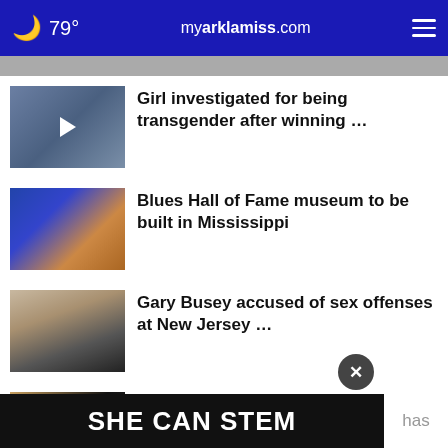79° myarklamiss.com
Girl investigated for being transgender after winning …
Blues Hall of Fame museum to be built in Mississippi
Gary Busey accused of sex offenses at New Jersey …
Couple on 1st date breaks into church to play piano
GOP's Senate outlook grows dimmer amid 'candidate …
SHE CAN STEM
has